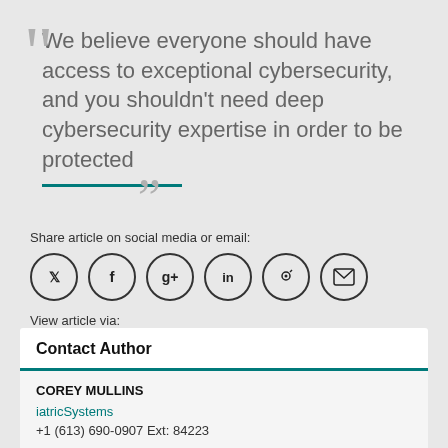We believe everyone should have access to exceptional cybersecurity, and you shouldn't need deep cybersecurity expertise in order to be protected
Share article on social media or email:
[Figure (infographic): Social media sharing icons in circles: Twitter, Facebook, Google+, LinkedIn, Pinterest, Email]
View article via:
PDF   PRINT
Contact Author
COREY MULLINS
iatricSystems
+1 (613) 690-0907 Ext: 84223